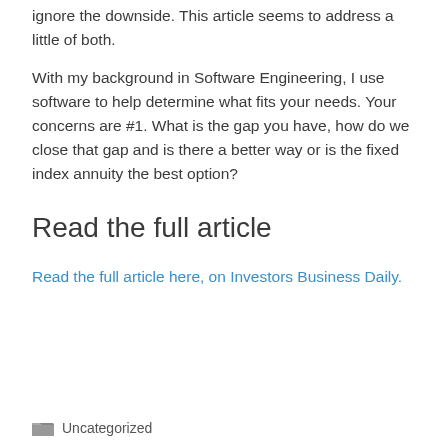ignore the downside. This article seems to address a little of both.
With my background in Software Engineering, I use software to help determine what fits your needs. Your concerns are #1. What is the gap you have, how do we close that gap and is there a better way or is the fixed index annuity the best option?
Read the full article
Read the full article here, on Investors Business Daily.
Uncategorized